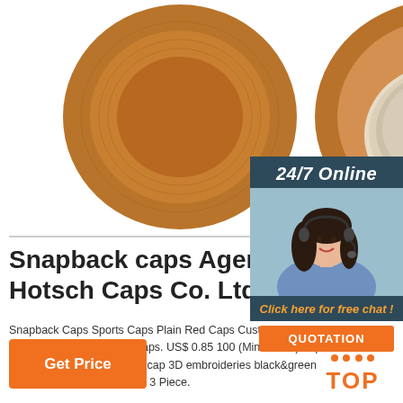[Figure (photo): Two views of a brown suede bucket hat — top view on the left showing the outer fabric, interior view on the right showing the cream-colored lining]
Snapback caps Agent: Tsi Hotsch Caps Co. Ltd
Snapback Caps Sports Caps Plain Red Caps Custom Plain Caps Acrylic Sports Caps Golf Caps. US$ 0.85 100 (Min. Order) Inquire Chat. Snapback cap cotton cap 3D embroideries black&green embroidery patch US$ 0.85 - 3 Piece.
[Figure (photo): 24/7 Online chat widget with female customer service agent wearing headset, orange QUOTATION button, and 'Click here for free chat!' text]
[Figure (other): Orange TOP badge with triangle/arrow design above the text TOP]
Get Price